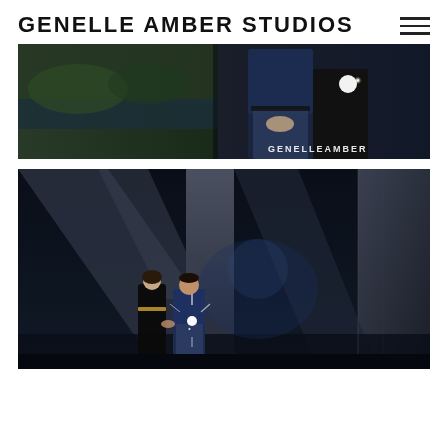GENELLE AMBER STUDIOS
[Figure (photo): Close-up photo of a couple at night near a river. The man is wearing a navy blue shirt and jeans, and a woman in a black outfit stands behind him. A bright flash/light appears in the background. Watermark reads GENELLEAMBER in bottom right corner.]
[Figure (photo): Photo of a couple standing hand-in-hand under a large concrete bridge or overpass structure at night. The woman wears a long black dress with a gold belt, the man wears a blue shirt and jeans. A bright starburst light shines between them. The background shows dramatic angular concrete supports.]